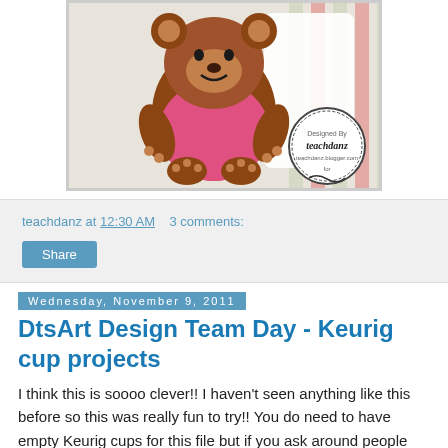[Figure (photo): A handmade gingerbread bear paper craft card sitting in front of a striped red and green background. The bear is brown with yellow/tan accents, wearing a pink outfit. A circular stamp logo reading 'Designed By teachdanz' is visible in the lower right corner.]
teachdanz at 12:30 AM   3 comments:
Share
Wednesday, November 9, 2011
DtsArt Design Team Day - Keurig cup projects
I think this is soooo clever!! I haven't seen anything like this before so this was really fun to try!! You do need to have empty Keurig cups for this file but if you ask around people